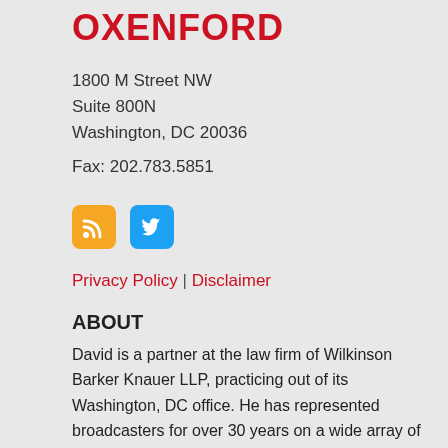OXENFORD
1800 M Street NW
Suite 800N
Washington, DC 20036
Fax: 202.783.5851
[Figure (illustration): RSS feed icon (orange rounded square) and Twitter bird icon (blue rounded square)]
Privacy Policy | Disclaimer
ABOUT
David is a partner at the law firm of Wilkinson Barker Knauer LLP, practicing out of its Washington, DC office. He has represented broadcasters for over 30 years on a wide array of matters from the negotiation and structuring of station purchase and sale agreements to regulatory matters. His regulatory